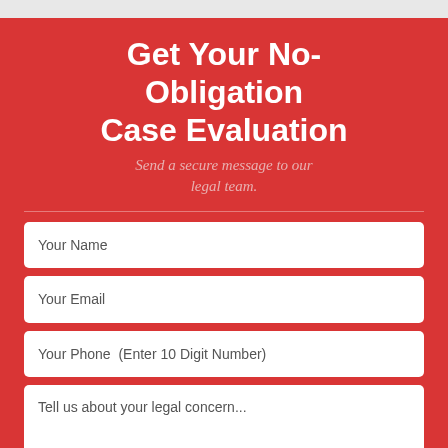Get Your No-Obligation Case Evaluation
Send a secure message to our legal team.
Your Name
Your Email
Your Phone  (Enter 10 Digit Number)
Tell us about your legal concern...